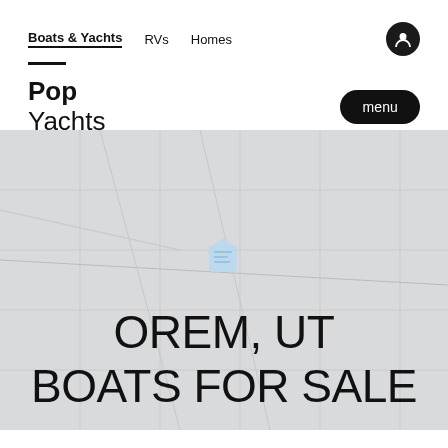Boats & Yachts  RVs  Homes
Pop Yachts
[Figure (map): A light gray map background with grid lines showing a geographic area, with a small light-blue location pin/marker icon centered on the map representing Orem, UT area.]
OREM, UT BOATS FOR SALE